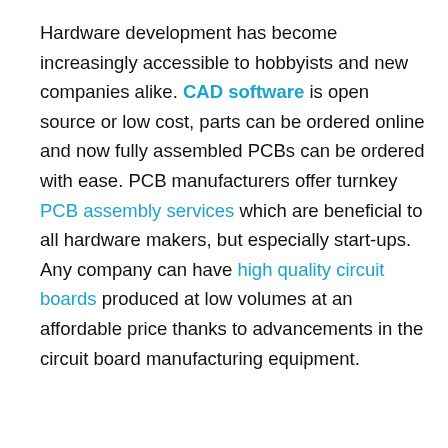Hardware development has become increasingly accessible to hobbyists and new companies alike. CAD software is open source or low cost, parts can be ordered online and now fully assembled PCBs can be ordered with ease. PCB manufacturers offer turnkey PCB assembly services which are beneficial to all hardware makers, but especially start-ups. Any company can have high quality circuit boards produced at low volumes at an affordable price thanks to advancements in the circuit board manufacturing equipment.